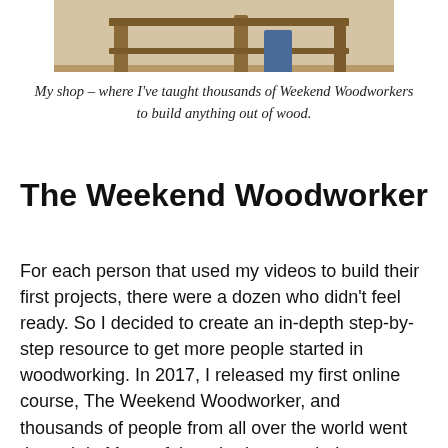[Figure (photo): Photo of a woodworking shop, partially cropped at top, showing a person or workbench area]
My shop – where I've taught thousands of Weekend Woodworkers to build anything out of wood.
The Weekend Woodworker
For each person that used my videos to build their first projects, there were a dozen who didn't feel ready. So I decided to create an in-depth step-by-step resource to get more people started in woodworking. In 2017, I released my first online course, The Weekend Woodworker, and thousands of people from all over the world went through it. Many of them had never tried woodworking